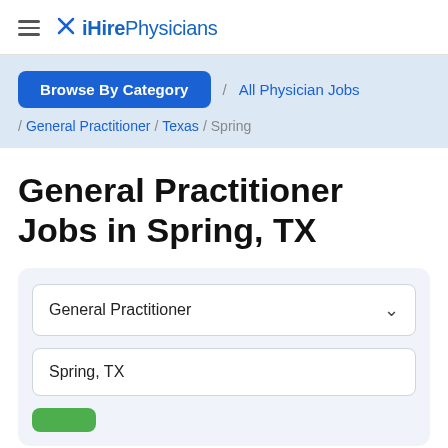iHirePhysicians
Browse By Category / All Physician Jobs / General Practitioner / Texas / Spring
General Practitioner Jobs in Spring, TX
General Practitioner
Spring, TX